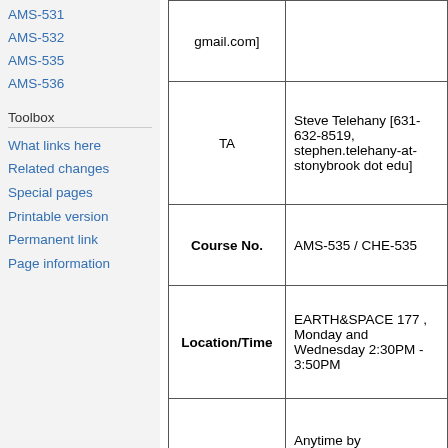AMS-531
AMS-532
AMS-535
AMS-536
Toolbox
What links here
Related changes
Special pages
Printable version
Permanent link
Page information
|  |  |
| --- | --- |
| TA | Steve Telehany [631-632-8519, stephen.telehany-at- stonybrook dot edu] |
| Course No. | AMS-535 / CHE-535 |
| Location/Time | EARTH&SPACE 177 , Monday and Wednesday 2:30PM - 3:50PM |
| Office Hours | Anytime by appointment, Math Tower 3-129 |